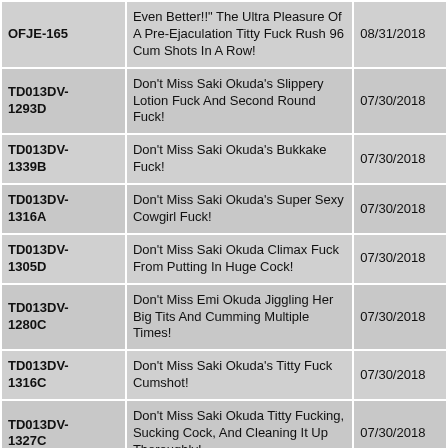| OFJE-165 | Even Better!! The Ultra Pleasure Of A Pre-Ejaculation Titty Fuck Rush 96 Cum Shots In A Row! | 08/31/2018 |
| TD013DV-1293D | Don't Miss Saki Okuda's Slippery Lotion Fuck And Second Round Fuck! | 07/30/2018 |
| TD013DV-1339B | Don't Miss Saki Okuda's Bukkake Fuck! | 07/30/2018 |
| TD013DV-1316A | Don't Miss Saki Okuda's Super Sexy Cowgirl Fuck! | 07/30/2018 |
| TD013DV-1305D | Don't Miss Saki Okuda Climax Fuck From Putting In Huge Cock! | 07/30/2018 |
| TD013DV-1280C | Don't Miss Emi Okuda Jiggling Her Big Tits And Cumming Multiple Times! | 07/30/2018 |
| TD013DV-1316C | Don't Miss Saki Okuda's Titty Fuck Cumshot! | 07/30/2018 |
| TD013DV-1327C | Don't Miss Saki Okuda Titty Fucking, Sucking Cock, And Cleaning It Up Thoroughly! | 07/30/2018 |
| TD013DV-1293B | Don't Miss Saki Okuda End Up Cumming From Mat Play Fuck! | 07/30/2018 |